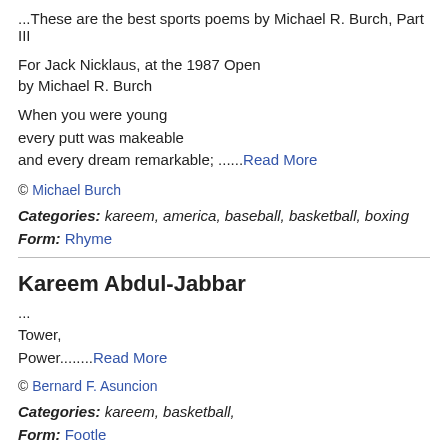...These are the best sports poems by Michael R. Burch, Part III
For Jack Nicklaus, at the 1987 Open
by Michael R. Burch
When you were young
every putt was makeable
and every dream remarkable; ......Read More
© Michael Burch
Categories: kareem, america, baseball, basketball, boxing
Form: Rhyme
Kareem Abdul-Jabbar
...
Tower,
Power........Read More
© Bernard F. Asuncion
Categories: kareem, basketball,
Form: Footle